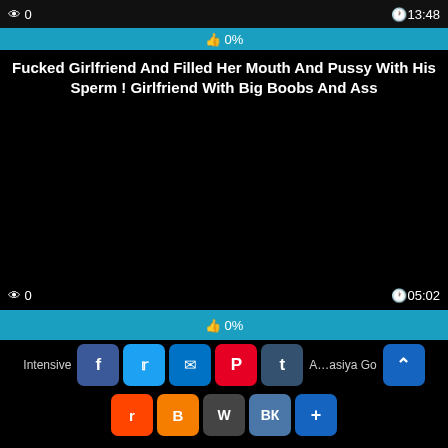[Figure (screenshot): Video thumbnail top bar showing view count 0 and duration 13:48]
[Figure (screenshot): Progress bar showing 0% with thumbs up icon]
Fucked Girlfriend And Filled Her Mouth And Pussy With His Sperm ! Girlfriend With Big Boobs And Ass
[Figure (screenshot): Black video player area]
[Figure (screenshot): Bottom video bar showing views 0 and duration 05:02]
[Figure (screenshot): Bottom progress bar showing 0% with thumbs up icon]
Intensive [share icons] Anastasiya Go[cut off]
[Figure (screenshot): Social share icons: Facebook, Twitter, Email, Pinterest, Tumblr, Reddit, Blogger, WordPress, VK, More, and scroll-to-top button]